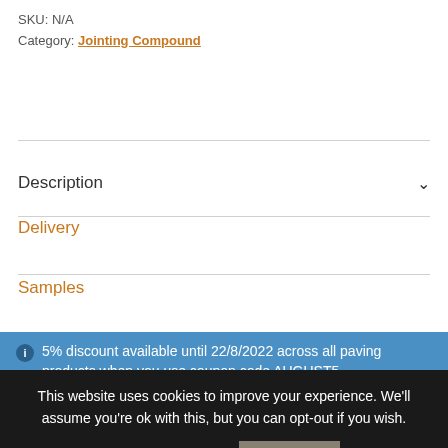SKU: N/A
Category: Jointing Compound
Description
Delivery
Samples
5% discount available until 22/8/2022 across all paving products when you use coupon code AUGUST5
This website uses cookies to improve your experience. We'll assume you're ok with this, but you can opt-out if you wish.
Cookie settings
ACCEPT